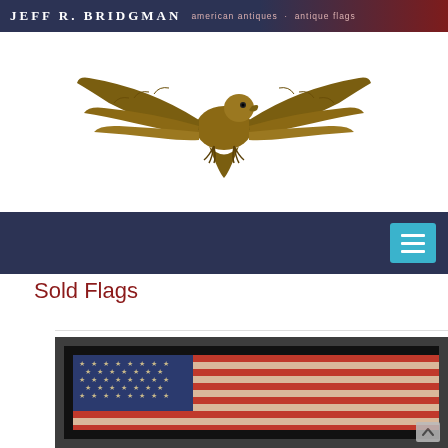Jeff R. Bridgman  american antiques · antique flags
[Figure (illustration): Carved wooden spread eagle with outstretched wings, golden-brown in color, displayed as a decorative header element on white background]
[Figure (screenshot): Navigation bar with dark navy background and teal hamburger menu button in top-right corner]
Sold Flags
[Figure (photo): Antique American flag displayed in a dark wooden frame against a black background. The flag shows a blue canton with white stars and red-and-white stripes, aged and worn.]